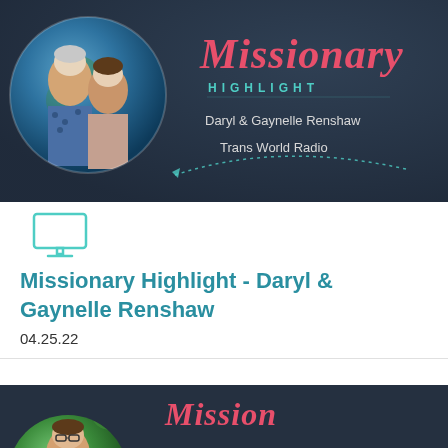[Figure (photo): Missionary Highlight banner with dark navy background showing circular photo of Daryl and Gaynelle Renshaw couple over a globe, with cursive red 'Missionary' title, teal 'HIGHLIGHT' subtitle, their names, and 'Trans World Radio' text, with a dotted arc line at the bottom]
[Figure (illustration): Monitor/screen icon in teal outline style]
Missionary Highlight - Daryl & Gaynelle Renshaw
04.25.22
[Figure (photo): Partial view of second Missionary Highlight banner with dark background showing partial circular photo of a man with glasses and partial cursive Missionary text in red]